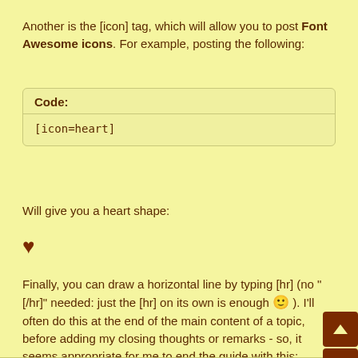Another is the [icon] tag, which will allow you to post Font Awesome icons. For example, posting the following:
Code:
[icon=heart]
Will give you a heart shape:
[Figure (illustration): A dark brown heart icon (Font Awesome heart symbol)]
Finally, you can draw a horizontal line by typing [hr] (no "[/hr]" needed: just the [hr] on its own is enough 🙂 ). I'll often do this at the end of the main content of a topic, before adding my closing thoughts or remarks - so, it seems appropriate for me to end the guide with this: